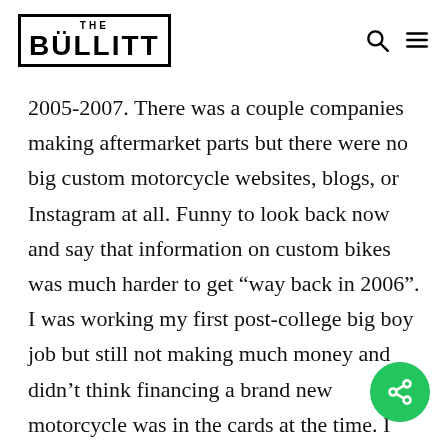THE BULLITT
2005-2007. There was a couple companies making aftermarket parts but there were no big custom motorcycle websites, blogs, or Instagram at all. Funny to look back now and say that information on custom bikes was much harder to get “way back in 2006”. I was working my first post-college big boy job but still not making much money and didn’t think financing a brand new motorcycle was in the cards at the time. I was still rubbing pennies together to try to make rent and